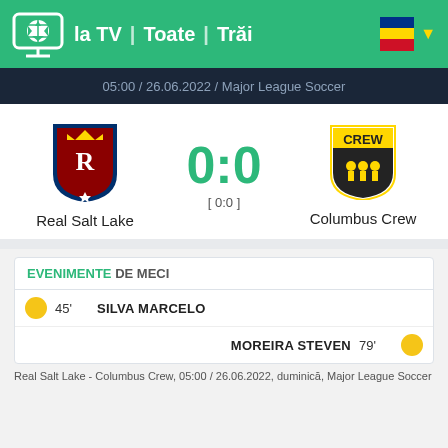la TV | Toate | Trăi
05:00 / 26.06.2022 / Major League Soccer
[Figure (other): Real Salt Lake team logo - blue shield with R and crown]
Real Salt Lake
0:0
[ 0:0 ]
[Figure (other): Columbus Crew team logo - yellow shield with CREW text and figures]
Columbus Crew
EVENIMENTE DE MECI
45' SILVA MARCELO
MOREIRA STEVEN 79'
Real Salt Lake - Columbus Crew, 05:00 / 26.06.2022, duminică, Major League Soccer